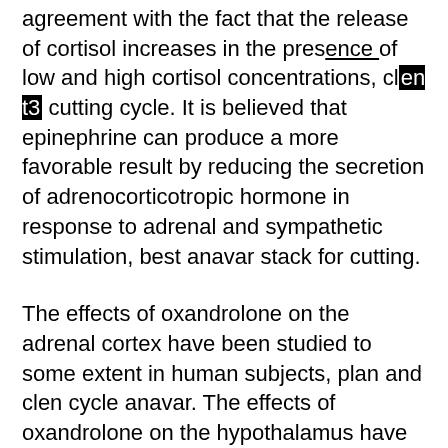agreement with the fact that the release of cortisol increases in the presence of low and high cortisol concentrations, clen t3 cutting cycle. It is believed that epinephrine can produce a more favorable result by reducing the secretion of adrenocorticotropic hormone in response to adrenal and sympathetic stimulation, best anavar stack for cutting.
The effects of oxandrolone on the adrenal cortex have been studied to some extent in human subjects, plan and clen cycle anavar. The effects of oxandrolone on the hypothalamus have been studied extensively in humans to further our understanding of this area.
Effect on pituitary Hormone secretion, clenbuterol stack for weight loss.
It has long been recognized that oxandrolone inhibits production of the